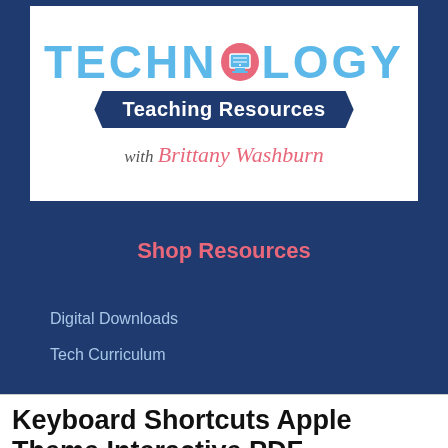[Figure (logo): Technology Teaching Resources with Brittany Washburn logo — blue background with white banner ribbon reading 'Teaching Resources' and coral/pink script 'with Brittany Washburn']
Shop Resources
Digital Downloads
Tech Curriculum
Keyboard Shortcuts Apple Theme Interactive PDF
$3.00
Add to Cart